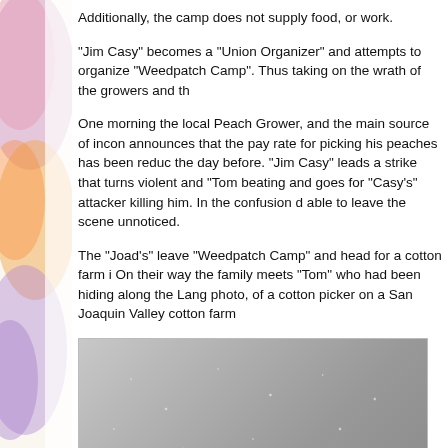Additionally, the camp does not supply food, or work.
"Jim Casy" becomes a "Union Organizer" and attempts to organize "Weedpatch Camp". Thus taking on the wrath of the growers and th...
One morning the local Peach Grower, and the main source of incom... announces that the pay rate for picking his peaches has been reduc... the day before. "Jim Casy" leads a strike that turns violent and "Tom... beating and goes for "Casy's" attacker killing him. In the confusion d... able to leave the scene unnoticed.
The "Joad's" leave "Weedpatch Camp" and head for a cotton farm i... On their way the family meets "Tom" who had been hiding along the... Lang photo, of a cotton picker on a San Joaquin Valley cotton farm...
[Figure (photo): Black and white photograph of a smiling person (cotton picker) in a field on a San Joaquin Valley cotton farm, likely a Dorothea Lange photo.]